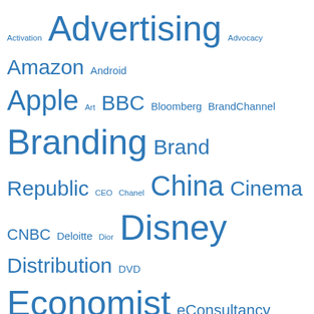[Figure (other): Tag cloud / word cloud with terms related to media, branding, and business. Terms vary in font size indicating frequency/weight. All text is blue on white background. Terms include: Activation, Advertising, Advocacy, Amazon, Android, Apple, Art, BBC, Bloomberg, BrandChannel, Branding, Brand Republic, CEO, Chanel, China, Cinema, CNBC, Deloitte, Dior, Disney, Distribution, DVD, Economist, eConsultancy, Facebook, Film, Fox, France, FT, Google, Government, Hollywood, Innovation, iPad, iPhone, IPR, London, Louis Vuitton, Luxury, LVMH, Marketing, Mashable, McKinsey, Microsoft, Mobile, Music, Netflix, Newspapers, New York, New Yorker, New York Times, Obama, Ogilvy, Olympics, Piracy, PSFK, Recession, Regulation, Retail, Retail Environment, Reuters, Sky, Social Media, Sony, Strategy, Tech]